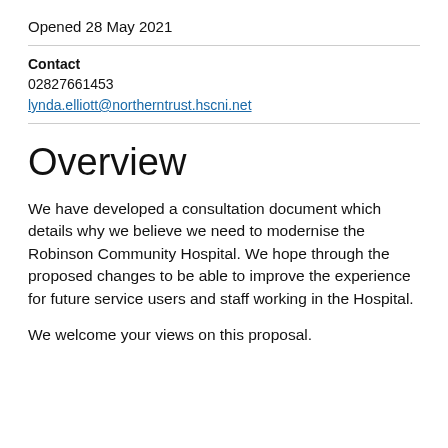Opened 28 May 2021
Contact
02827661453
lynda.elliott@northerntrust.hscni.net
Overview
We have developed a consultation document which details why we believe we need to modernise the Robinson Community Hospital. We hope through the proposed changes to be able to improve the experience for future service users and staff working in the Hospital.
We welcome your views on this proposal.